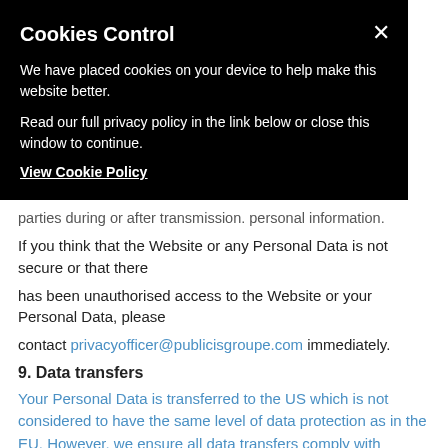Cookies Control
We have placed cookies on your device to help make this website better.
Read our full privacy policy in the link below or close this window to continue.
View Cookie Policy
parties during or after transmission. personal information.
If you think that the Website or any Personal Data is not secure or that there
has been unauthorised access to the Website or your Personal Data, please
contact privacyofficer@publicisgroupe.com immediately.
9. Data transfers
Your Personal Data is transferred to the US which is not considered to have the same level of data protection as in the EU. However, we ensure all data transfers comply with applicable legal requirements (under intercompany agreements with appropriate contractual protections).